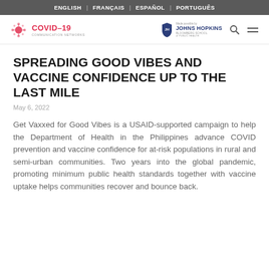ENGLISH | FRANÇAIS | ESPAÑOL | PORTUGUÊS
[Figure (logo): COVID-19 Communication Networks logo with viral particle icon on the left, and Johns Hopkins Bloomberg School of Public Health logo with shield on the right, plus search and menu icons]
SPREADING GOOD VIBES AND VACCINE CONFIDENCE UP TO THE LAST MILE
May 6, 2022
Get Vaxxed for Good Vibes is a USAID-supported campaign to help the Department of Health in the Philippines advance COVID prevention and vaccine confidence for at-risk populations in rural and semi-urban communities. Two years into the global pandemic, promoting minimum public health standards together with vaccine uptake helps communities recover and bounce back.